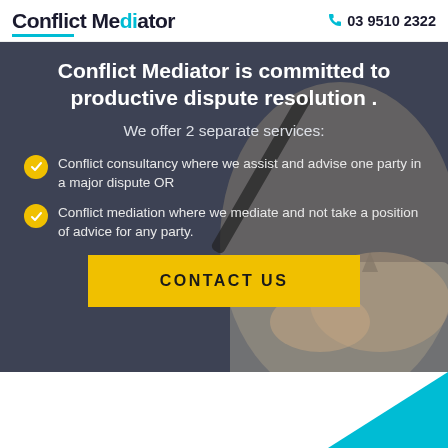Conflict Mediator  03 9510 2322
Conflict Mediator is committed to productive dispute resolution .
We offer 2 separate services:
Conflict consultancy where we assist and advise one party in a major dispute OR
Conflict mediation where we mediate and not take a position of advice for any party.
CONTACT US